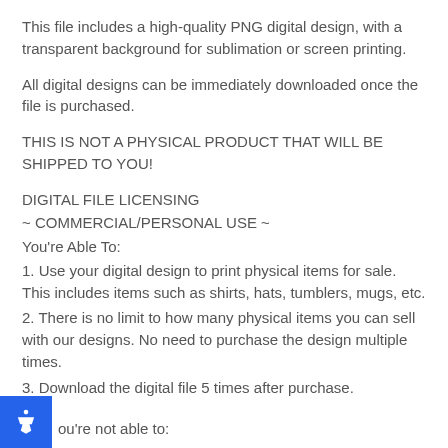This file includes a high-quality PNG digital design, with a transparent background for sublimation or screen printing.
All digital designs can be immediately downloaded once the file is purchased.
THIS IS NOT A PHYSICAL PRODUCT THAT WILL BE SHIPPED TO YOU!
DIGITAL FILE LICENSING
~ COMMERCIAL/PERSONAL USE ~
You're Able To:
1. Use your digital design to print physical items for sale. This includes items such as shirts, hats, tumblers, mugs, etc.
2. There is no limit to how many physical items you can sell with our designs. No need to purchase the design multiple times.
3. Download the digital file 5 times after purchase.
You're not able to: